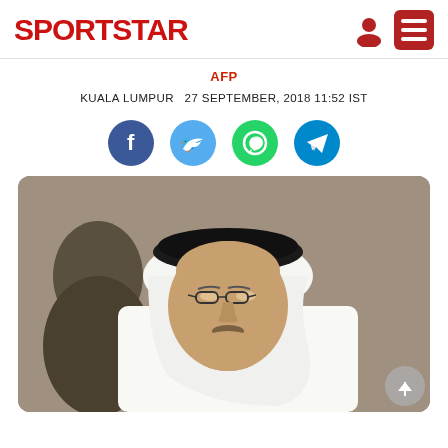SPORTSTAR
AFP
KUALA LUMPUR   27 SEPTEMBER, 2018 11:52 IST
[Figure (infographic): Social media share buttons: Facebook (blue circle), Twitter (light blue circle), WhatsApp (green circle), Telegram (cyan circle)]
[Figure (photo): A man wearing a white traditional Arab headdress (keffiyeh) and glasses, in the foreground, with another person visible in the background. The photo is cropped to show mainly the face and upper shoulders.]